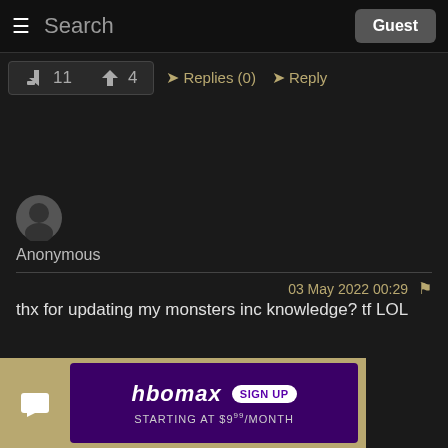Search  Guest
👍 11  👎 4  ➤Replies (0)  ➤Reply
Anonymous
03 May 2022 00:29
thx for updating my monsters inc knowledge? tf LOL
👍 0  👎 2  ➤Replies (0)  ➤Reply
[Figure (other): HBO Max advertisement banner: HBOMAX SIGN UP - STARTING AT $9.99/MONTH]